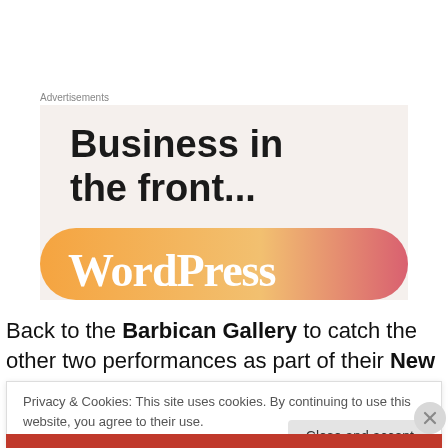Advertisements
[Figure (illustration): WordPress advertisement banner with text 'Business in the front...' on a beige background, with an orange gradient bar at the bottom showing the WordPress wordmark in white.]
Back to the Barbican Gallery to catch the other two performances as part of their New York Avant Garde
Privacy & Cookies: This site uses cookies. By continuing to use this website, you agree to their use.
To find out more, including how to control cookies, see here: Cookie Policy
Close and accept